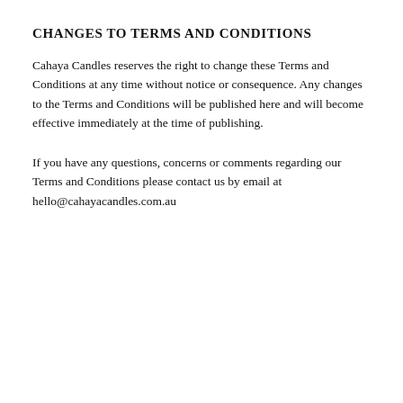CHANGES TO TERMS AND CONDITIONS
Cahaya Candles reserves the right to change these Terms and Conditions at any time without notice or consequence. Any changes to the Terms and Conditions will be published here and will become effective immediately at the time of publishing.
If you have any questions, concerns or comments regarding our Terms and Conditions please contact us by email at hello@cahayacandles.com.au